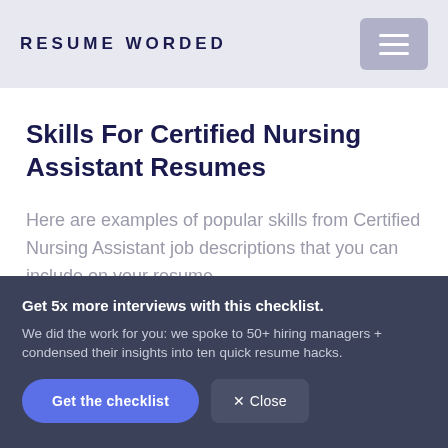RESUME WORDED
Skills For Certified Nursing Assistant Resumes
Here are examples of popular skills from Certified Nursing Assistant job descriptions that you can include on your resume.
Get 5x more interviews with this checklist. We did the work for you: we spoke to 50+ hiring managers + condensed their insights into ten quick resume hacks.
Get the checklist
✕ Close